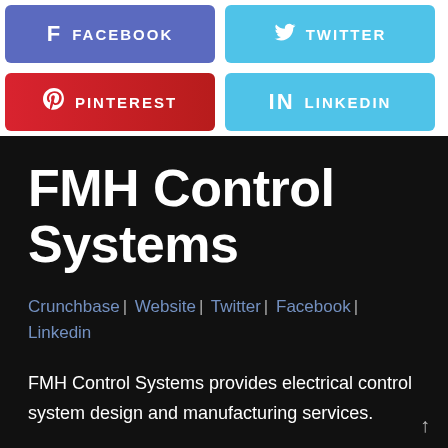[Figure (infographic): Social media share buttons: Facebook (purple), Twitter (light blue), Pinterest (red), LinkedIn (light blue)]
FMH Control Systems
Crunchbase | Website | Twitter | Facebook | Linkedin
FMH Control Systems provides electrical control system design and manufacturing services.